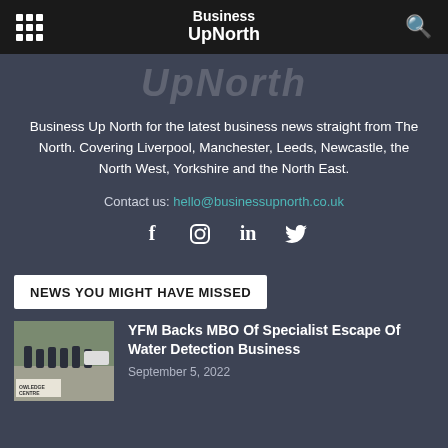Business UpNorth
UpNorth
Business Up North for the latest business news straight from The North. Covering Liverpool, Manchester, Leeds, Newcastle, the North West, Yorkshire and the North East.
Contact us: hello@businessupnorth.co.uk
[Figure (infographic): Social media icons: Facebook, Instagram, LinkedIn, Twitter]
NEWS YOU MIGHT HAVE MISSED
[Figure (photo): Group of people in dark uniforms standing outside near a sign reading OWLEDGE CENTRE]
YFM Backs MBO Of Specialist Escape Of Water Detection Business
September 5, 2022